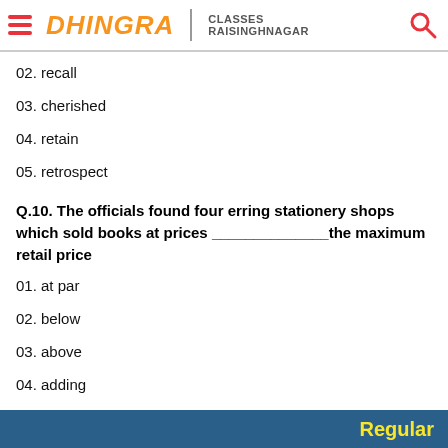DHINGRA CLASSES RAISINGHNAGAR
02. recall
03. cherished
04. retain
05. retrospect
Q.10. The officials found four erring stationery shops which sold books at prices _____________the maximum retail price
01. at par
02. below
03. above
04. adding
Regular